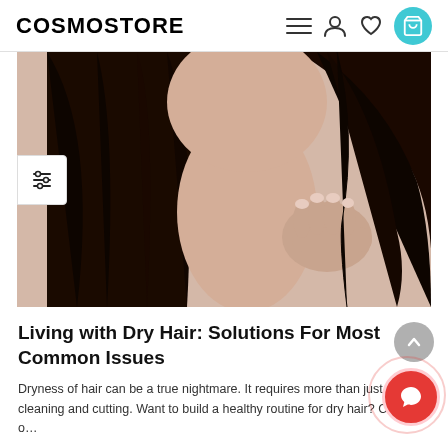COSMOSTORE
[Figure (photo): Woman with long dark hair holding the ends of her hair, close-up beauty/hair care photo]
Living with Dry Hair: Solutions For Most Common Issues
Dryness of hair can be a true nightmare. It requires more than just regular cleaning and cutting. Want to build a healthy routine for dry hair? Check o…